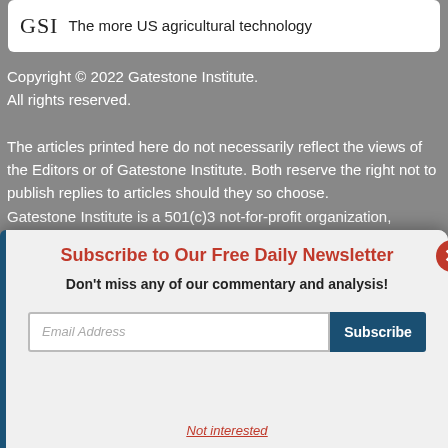[Figure (logo): GSI logo with text 'The more US agricultural technology']
Copyright © 2022 Gatestone Institute.
All rights reserved.

The articles printed here do not necessarily reflect the views of the Editors or of Gatestone Institute. Both reserve the right not to publish replies to articles should they so choose.
Gatestone Institute is a 501(c)3 not-for-profit organization,
Subscribe to Our Free Daily Newsletter
Don't miss any of our commentary and analysis!
Email Address
Subscribe
Not interested